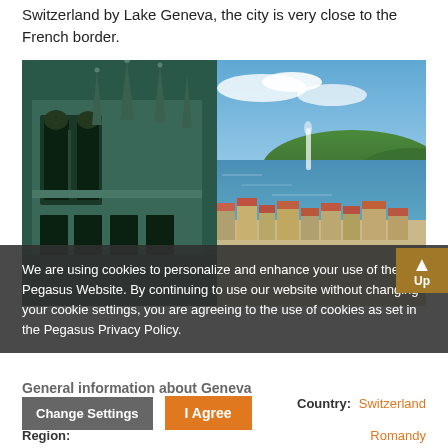Switzerland by Lake Geneva, the city is very close to the French border.
[Figure (photo): Aerial view of Geneva, Switzerland showing Gothic cathedral spires on the left and Lake Geneva with a water fountain jet in the background, with the city's rooftops below]
We are using cookies to personalize and enhance your use of the Pegasus Website. By continuing to use our website without changing your cookie settings, you are agreeing to the use of cookies as set in the Pegasus Privacy Policy.
General information about Geneva
Country: Switzerland
Region: Romandy